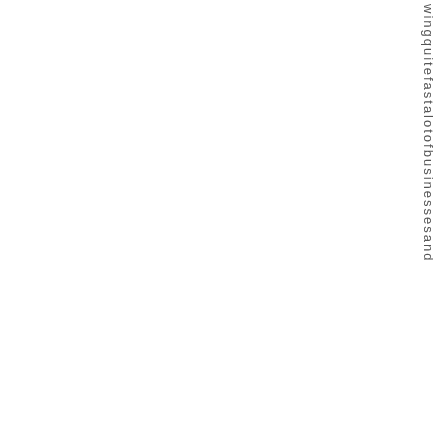wing quite fast a lot of businesses and